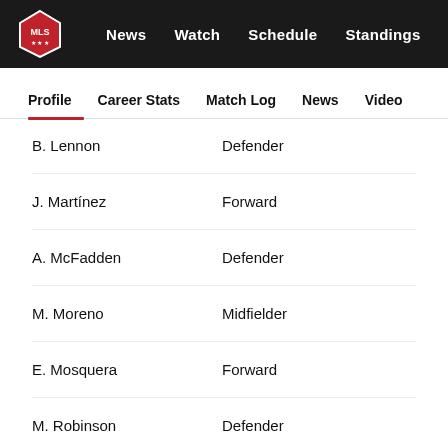MLS — News  Watch  Schedule  Standings  •••
Profile | Career Stats | Match Log | News | Video
B. Lennon — Defender
J. Martínez — Forward
A. McFadden — Defender
M. Moreno — Midfielder
E. Mosquera — Forward
M. Robinson — Defender